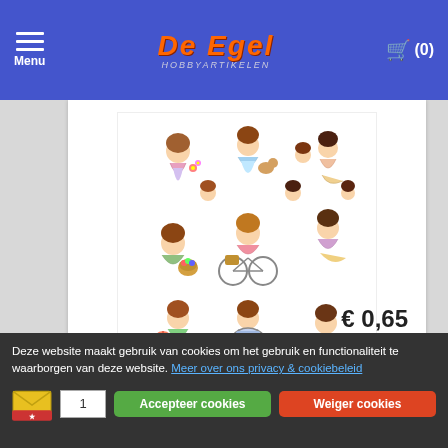Menu | De Egel Hobbyartikelen | Cart (0)
[Figure (illustration): Product sheet showing 3D paper cut-out figures of bubbly cartoon girls in spring scenes — girls with flowers, bicycles, Easter baskets, and spring activities arranged on a white A4 sheet]
3D Knipvel Yvonne Creations - Bubbly Girls - Spring
€ 0,65
Deze website maakt gebruik van cookies om het gebruik en functionaliteit te waarborgen van deze website. Meer over ons privacy & cookiebeleid
Accepteer cookies
Weiger cookies